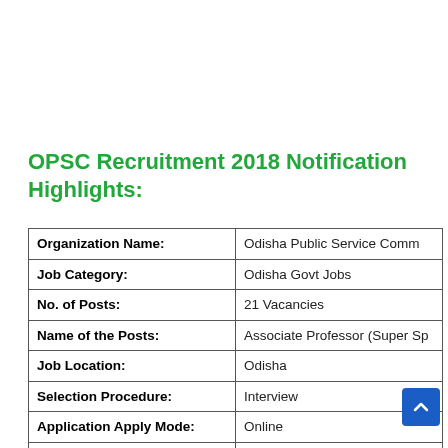OPSC Recruitment 2018 Notification Highlights:
| Field | Value |
| --- | --- |
| Organization Name: | Odisha Public Service Comm... |
| Job Category: | Odisha Govt Jobs |
| No. of Posts: | 21 Vacancies |
| Name of the Posts: | Associate Professor (Super Sp... |
| Job Location: | Odisha |
| Selection Procedure: | Interview |
| Application Apply Mode: | Online |
| Official Website: | www.opsc.gov.in |
| Starting Date: | 12.10.2018 |
| Last Date: | 12.11.2018 |